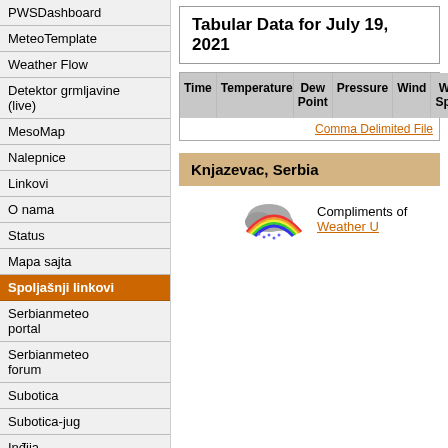PWSdashboard
MeteoTemplate
Weather Flow
Detektor grmljavine (live)
MesoMap
Nalepnice
Linkovi
O nama
Status
Mapa sajta
Spoljašnji linkovi
Serbianmeteo portal
Serbianmeteo forum
Subotica
Subotica-jug
Inđija
Vršac
Pančevo
Pančevo centar
Karaburma
Ravnje
Tabular Data for July 19, 2021
| Time | Temperature | Dew Point | Pressure | Wind | Wind Speed | Wind Gust |
| --- | --- | --- | --- | --- | --- | --- |
Comma Delimited File
Knjazevac, Serbia
[Figure (illustration): Weather Underground logo with clouds and rainbow, with text 'Compliments of Weather U...']